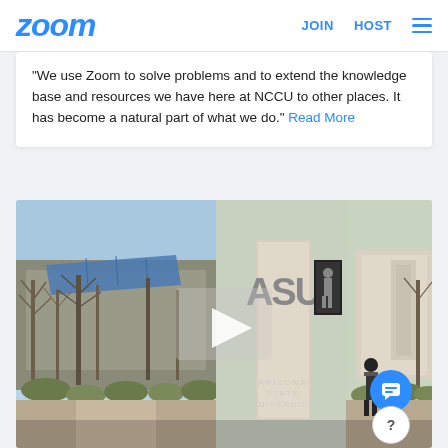zoom  JOIN  HOST
"We use Zoom to solve problems and to extend the knowledge base and resources we have here at NCCU to other places. It has become a natural part of what we do." Read More
[Figure (photo): Arizona State University campus entrance sign with ASU letters visible, trees in foreground, student walking in background. Play button overlay in center. Text reads ARIZONA STATE UNIVERSITY.]